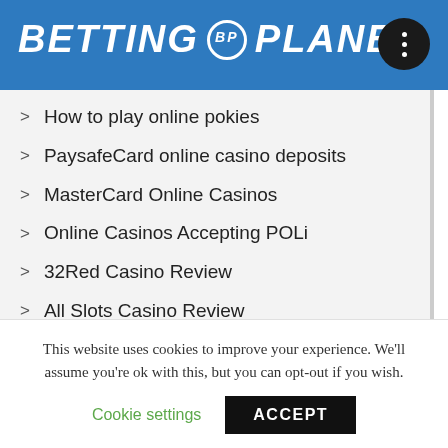BETTING BP PLANET
How to play online pokies
PaysafeCard online casino deposits
MasterCard Online Casinos
Online Casinos Accepting POLi
32Red Casino Review
All Slots Casino Review
Boombet Casino review
Horse racing games at casinos
Credit card deposits at online casinos
This website uses cookies to improve your experience. We'll assume you're ok with this, but you can opt-out if you wish.